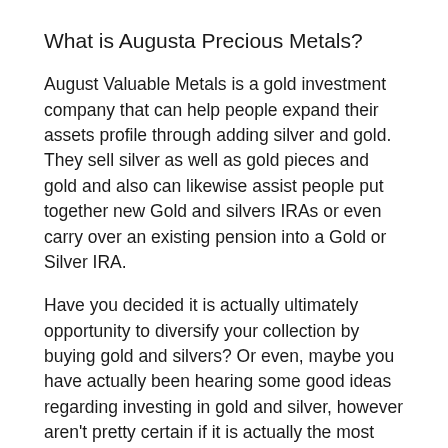What is Augusta Precious Metals?
August Valuable Metals is a gold investment company that can help people expand their assets profile through adding silver and gold. They sell silver as well as gold pieces and gold and also can likewise assist people put together new Gold and silvers IRAs or even carry over an existing pension into a Gold or Silver IRA.
Have you decided it is actually ultimately opportunity to diversify your collection by buying gold and silvers? Or even, maybe you have actually been hearing some good ideas regarding investing in gold and silver, however aren't pretty certain if it is actually the most ideal monetary proposo you...